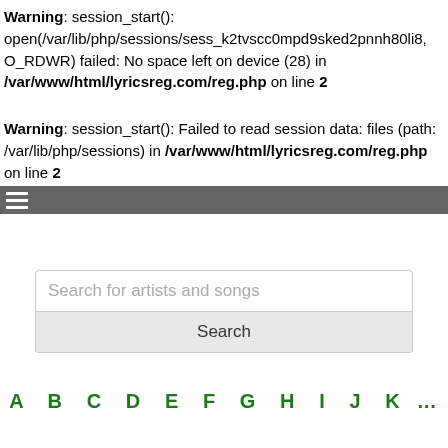Warning: session_start(): open(/var/lib/php/sessions/sess_k2tvscc0mpd9sked2pnnh80li8, O_RDWR) failed: No space left on device (28) in /var/www/html/lyricsreg.com/reg.php on line 2
Warning: session_start(): Failed to read session data: files (path: /var/lib/php/sessions) in /var/www/html/lyricsreg.com/reg.php on line 2
Search for artists and songs
Search
A B C D E F G H I J K ...